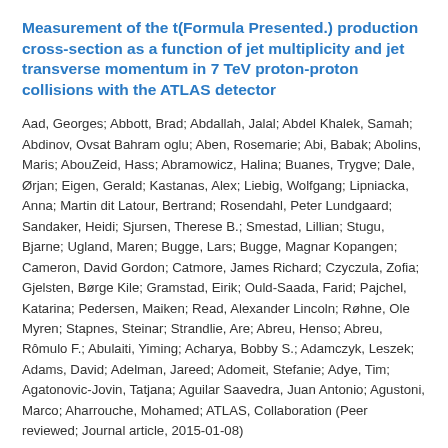Measurement of the t(Formula Presented.) production cross-section as a function of jet multiplicity and jet transverse momentum in 7 TeV proton-proton collisions with the ATLAS detector
Aad, Georges; Abbott, Brad; Abdallah, Jalal; Abdel Khalek, Samah; Abdinov, Ovsat Bahram oglu; Aben, Rosemarie; Abi, Babak; Abolins, Maris; AbouZeid, Hass; Abramowicz, Halina; Buanes, Trygve; Dale, Ørjan; Eigen, Gerald; Kastanas, Alex; Liebig, Wolfgang; Lipniacka, Anna; Martin dit Latour, Bertrand; Rosendahl, Peter Lundgaard; Sandaker, Heidi; Sjursen, Therese B.; Smestad, Lillian; Stugu, Bjarne; Ugland, Maren; Bugge, Lars; Bugge, Magnar Kopangen; Cameron, David Gordon; Catmore, James Richard; Czyczula, Zofia; Gjelsten, Børge Kile; Gramstad, Eirik; Ould-Saada, Farid; Pajchel, Katarina; Pedersen, Maiken; Read, Alexander Lincoln; Røhne, Ole Myren; Stapnes, Steinar; Strandlie, Are; Abreu, Henso; Abreu, Rômulo F.; Abulaiti, Yiming; Acharya, Bobby S.; Adamczyk, Leszek; Adams, David; Adelman, Jareed; Adomeit, Stefanie; Adye, Tim; Agatonovic-Jovin, Tatjana; Aguilar Saavedra, Juan Antonio; Agustoni, Marco; Aharrouche, Mohamed; ATLAS, Collaboration (Peer reviewed; Journal article, 2015-01-08)